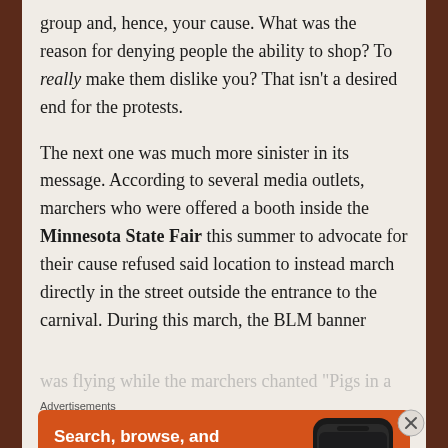group and, hence, your cause. What was the reason for denying people the ability to shop? To really make them dislike you? That isn’t a desired end for the protests.
The next one was much more sinister in its message. According to several media outlets, marchers who were offered a booth inside the Minnesota State Fair this summer to advocate for their cause refused said location to instead march directly in the street outside the entrance to the carnival. During this march, the BLM banner was flying while the marchers chanted “Pigs in a
Advertisements
[Figure (illustration): DuckDuckGo advertisement banner with orange background. Text reads: Search, browse, and email with more privacy. All in One Free App. Shows a phone with DuckDuckGo logo.]